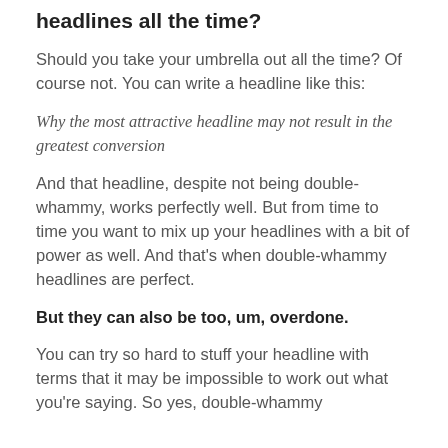headlines all the time?
Should you take your umbrella out all the time? Of course not. You can write a headline like this:
Why the most attractive headline may not result in the greatest conversion
And that headline, despite not being double-whammy, works perfectly well. But from time to time you want to mix up your headlines with a bit of power as well. And that's when double-whammy headlines are perfect.
But they can also be too, um, overdone.
You can try so hard to stuff your headline with terms that it may be impossible to work out what you're saying. So yes, double-whammy